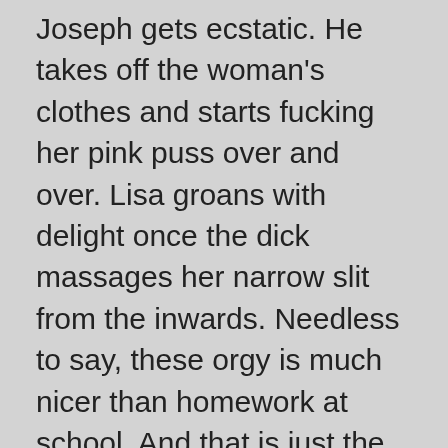Joseph gets ecstatic. He takes off the woman's clothes and starts fucking her pink puss over and over. Lisa groans with delight once the dick massages her narrow slit from the inwards. Needless to say, these orgy is much nicer than homework at school. And that is just the beginning of a story about youthfull paramours. So let's embark the game and do it right now. Play now »
Published May 19, 2018
Game type: Adobe Flash
Tagged blowjob, classroom, creampie, cumshot, teen, uniform